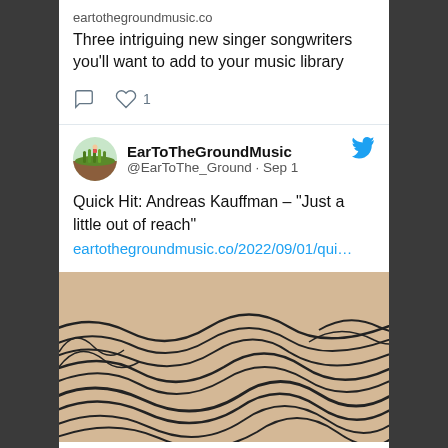eartothegroundmusic.co
Three intriguing new singer songwriters you’ll want to add to your music library
[Figure (screenshot): Twitter/social media card showing EarToTheGroundMusic tweet with avatar, handle @EarToThe_Ground, date Sep 1, and text about Andreas Kauffman]
Quick Hit: Andreas Kauffman – “Just a little out of reach”
eartothegroundmusic.co/2022/09/01/qui…
[Figure (illustration): Abstract wave/hills illustration with black line art on tan/beige background]